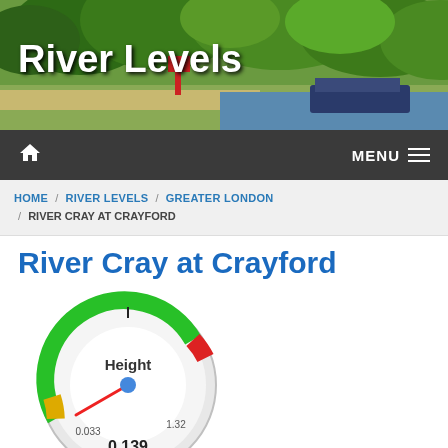[Figure (photo): River scene with trees, towpath, and narrowboat, with 'River Levels' text overlay in white]
Home | MENU
HOME / RIVER LEVELS / GREATER LONDON / RIVER CRAY AT CRAYFORD
River Cray at Crayford
[Figure (infographic): Gauge dial showing Height reading. Green arc for normal range, red arc for high, yellow for low. Needle pointing to current value. Labels: 0.033 (min), 1.32 (max), current value 0.139]
Current River Level: 0.139m, falling